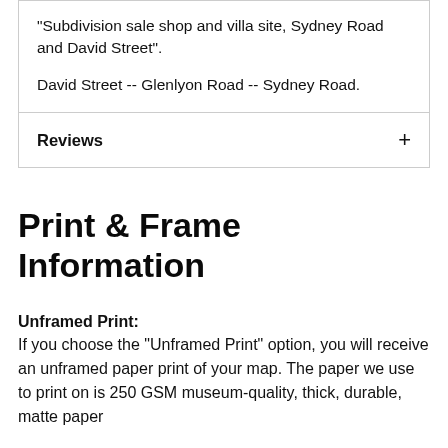"Subdivision sale shop and villa site, Sydney Road and David Street".

David Street -- Glenlyon Road -- Sydney Road.
Reviews
Print & Frame Information
Unframed Print:
If you choose the "Unframed Print" option, you will receive an unframed paper print of your map. The paper we use to print on is 250 GSM museum-quality, thick, durable, matte paper